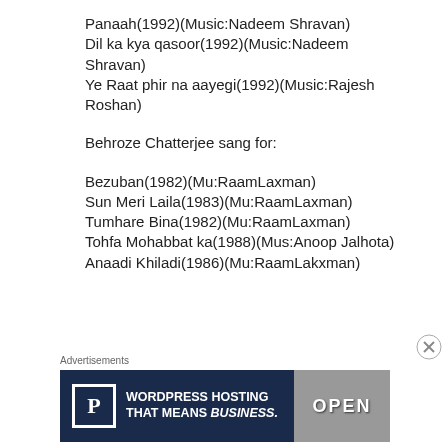Panaah(1992)(Music:Nadeem Shravan)
Dil ka kya qasoor(1992)(Music:Nadeem Shravan)
Ye Raat phir na aayegi(1992)(Music:Rajesh Roshan)
Behroze Chatterjee sang for:
Bezuban(1982)(Mu:RaamLaxman)
Sun Meri Laila(1983)(Mu:RaamLaxman)
Tumhare Bina(1982)(Mu:RaamLaxman)
Tohfa Mohabbat ka(1988)(Mus:Anoop Jalhota)
Anaadi Khiladi(1986)(Mu:RaamLakxman)
Advertisements
[Figure (infographic): WordPress Hosting advertisement banner with P logo and OPEN sign image]